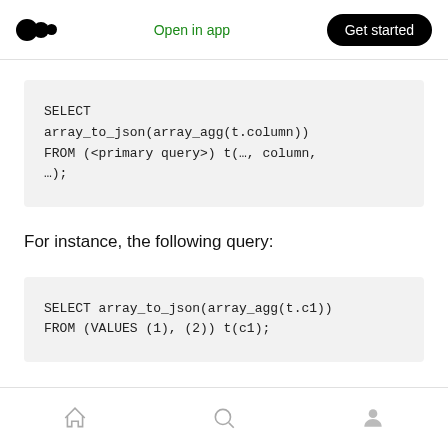Open in app | Get started
For instance, the following query: